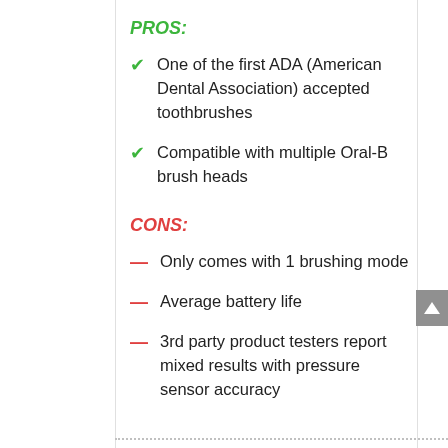PROS:
One of the first ADA (American Dental Association) accepted toothbrushes
Compatible with multiple Oral-B brush heads
CONS:
Only comes with 1 brushing mode
Average battery life
3rd party product testers report mixed results with pressure sensor accuracy